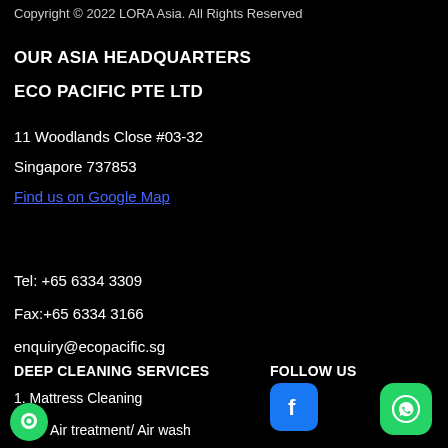Copyright © 2022 LORA Asia. All Rights Reserved
OUR ASIA HEADQUARTERS
ECO PACIFIC PTE LTD
11 Woodlands Close #03-32
Singapore 737853
Find us on Google Map
Tel: +65 6334 3309
Fax: +65 6334 3166
enquiry@ecopacific.sg
DEEP CLEANING SERVICES
FOLLOW US
1. Mattress Cleaning
Air treatment/ Air wash
[Figure (logo): Facebook icon - blue rounded square with white F logo]
[Figure (logo): WhatsApp icon - green rounded square with white phone/chat logo]
[Figure (logo): Green circle chat bubble icon bottom left]